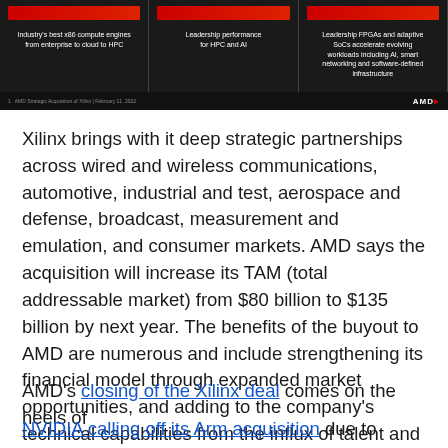[Figure (screenshot): AMD presentation slide showing three panels on dark background: 'Industry's best x86 compute engines from enterprise to cloud to HPC', 'Leadership performance for HPC and AI', and 'Leadership FPGAs and adaptive SoCs accelerate evolving workloads including AI, smart networking and software-defined infrastructure'. AMD logo at bottom right, slide footer text at bottom left.]
Xilinx brings with it deep strategic partnerships across wired and wireless communications, automotive, industrial and test, aerospace and defense, broadcast, measurement and emulation, and consumer markets. AMD says the acquisition will increase its TAM (total addressable market) from $80 billion to $135 billion by next year. The benefits of the buyout to AMD are numerous and include strengthening its financial model through expanded market opportunities, and adding to the company's technical capabilities from the influx of talent and IP.
AMD's closing of the Xilinx deal comes on the heels of
NVIDIA calling off its Arm acquisition due to regulatory